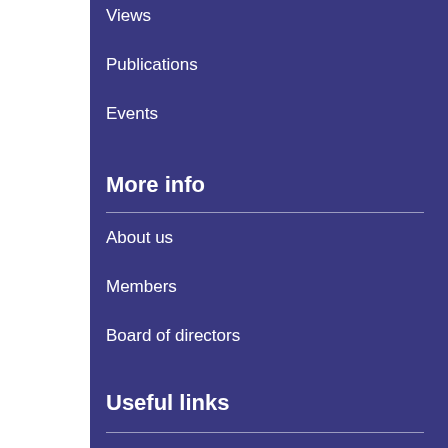Views
Publications
Events
More info
About us
Members
Board of directors
Useful links